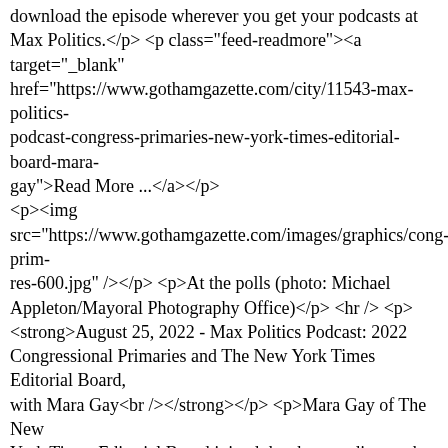download the episode wherever you get your podcasts at Max Politics.</p> <p class="feed-readmore"><a target="_blank" href="https://www.gothamgazette.com/city/11543-max-politics-podcast-congress-primaries-new-york-times-editorial-board-mara-gay">Read More ...</a></p>
<p><img src="https://www.gothamgazette.com/images/graphics/cong-prim-res-600.jpg" /></p> <p>At the polls (photo: Michael Appleton/Mayoral Photography Office)</p> <hr /> <p><strong>August 25, 2022 - Max Politics Podcast: 2022 Congressional Primaries and The New York Times Editorial Board, with Mara Gay<br /></strong></p> <p>Mara Gay of The New York Times Editorial Board joined the show to discuss the outcomes of the 2022 New York congressional primaries and the Board's endorsements -- Rep. Jerry Nadler in NY-12; Daniel Goldman in NY-10; and Rep. Sean Patrick Maloney in NY-17, all victorious -- as well as related themes.</p> <p>Listen to the conversation and let us know what you think, on Twitter <a href="https://twitter.com/TweetBenMax">@TweetBenMax</a>. You can listen to the show through the embedded audio below or download the episode wherever you get your podcasts at Max Politics.</p> <p class="feed-readmore"><a target="_blank" href="https://www.gothamgazette.com/city/11543-max-politics-podcast-congress-primaries-new-york-times-editorial-board-mara-gay">Read More ...</a></p> 2022-08-25T04:00:00+00:00 2022-08-25T04:00:00+00:00